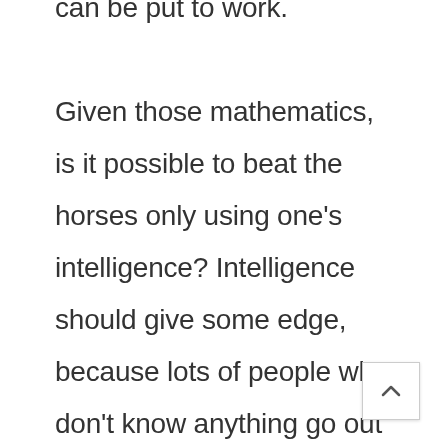can be put to work. Given those mathematics, is it possible to beat the horses only using one's intelligence? Intelligence should give some edge, because lots of people who don't know anything go out and bet lucky numbers and so forth. Therefore, somebody who really thinks about nothing but horse performance and is shrewd and mathematical could have a very considerable edge, in the absence of the frictional cost caused by the house take.